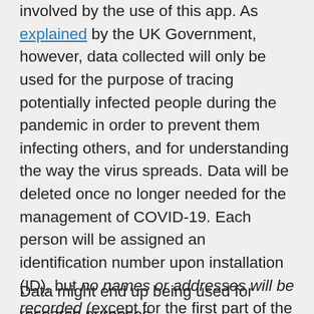involved by the use of this app. As explained by the UK Government, however, data collected will only be used for the purpose of tracing potentially infected people during the pandemic in order to prevent them infecting others, and for understanding the way the virus spreads. Data will be deleted once no longer needed for the management of COVID-19. Each person will be assigned an identification number upon installation (ID), but no names or addresses will be recorded (except for the first part of the postcode, not even the full code). The installation ID will not be linked to any individual identified by name or other personal information. Whatever privacy infringement is involved here, if any at all, it would be very small. And simply framing the issue in terms of 'human rights' is not making the infringement any bigger.
Data might end up being used for research purposes,